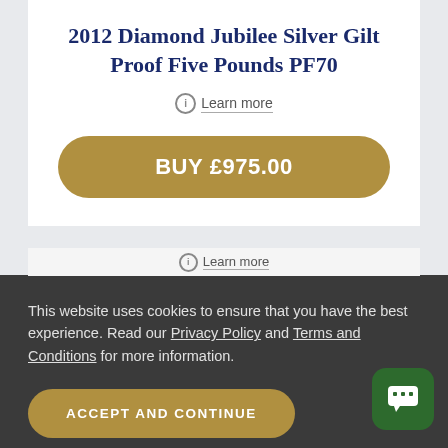2012 Diamond Jubilee Silver Gilt Proof Five Pounds PF70
Learn more
BUY £975.00
This website uses cookies to ensure that you have the best experience. Read our Privacy Policy and Terms and Conditions for more information.
ACCEPT AND CONTINUE
Learn more